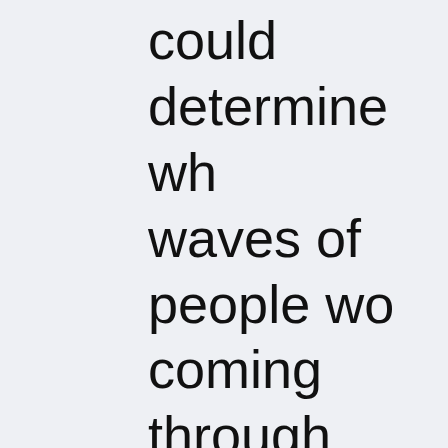could determine wh waves of people wo coming through. And then the waves began. We position ourselves along the traffic, with one rev